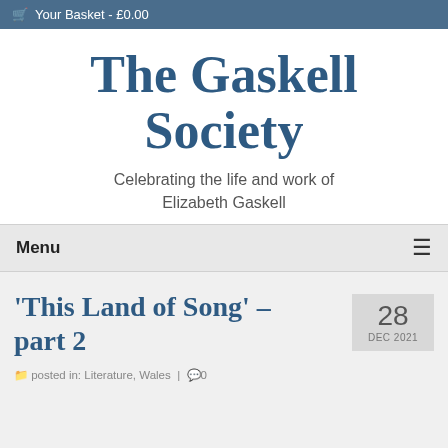Your Basket - £0.00
The Gaskell Society
Celebrating the life and work of Elizabeth Gaskell
Menu
'This Land of Song' – part 2
28 DEC 2021
posted in: Literature, Wales  |  0